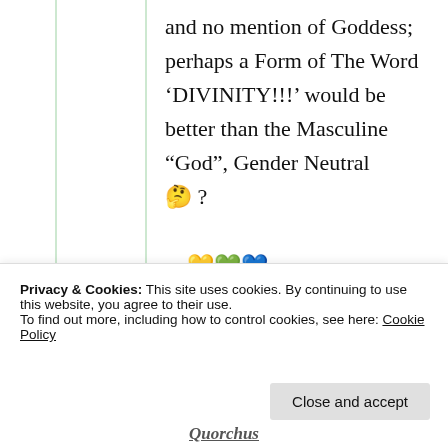and no mention of Goddess; perhaps a Form of The Word ‘DIVINITY!!!’ would be better than the Masculine “God”, Gender Neutral 🤔 ?

…💛💚💙…
★ Liked by 1 person
Privacy & Cookies: This site uses cookies. By continuing to use this website, you agree to their use.
To find out more, including how to control cookies, see here: Cookie Policy
Close and accept
Quorchus